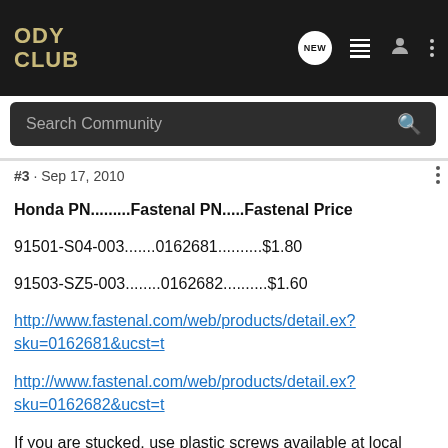ODY CLUB
#3 · Sep 17, 2010
Honda PN.........Fastenal PN.....Fastenal Price
91501-S04-003.......0162681..........$1.80
91503-SZ5-003........0162682..........$1.60
http://www.fastenal.com/web/products/detail.ex?sku=0162681&ucst=t
http://www.fastenal.com/web/products/detail.ex?sku=0162682&ucst=t
If you are stucked, use plastic screws available at local